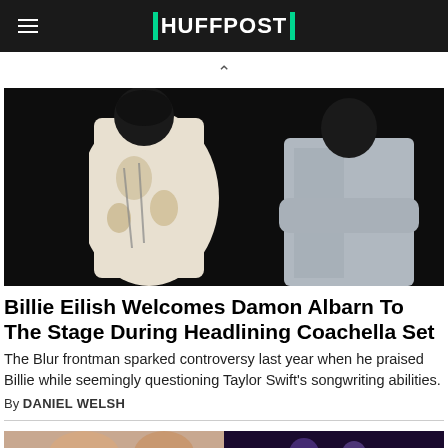HUFFPOST
[Figure (photo): Two performers on a dark stage. Left figure wears a white patterned outfit with chains; right figure wears a gray oversized t-shirt.]
Billie Eilish Welcomes Damon Albarn To The Stage During Headlining Coachella Set
The Blur frontman sparked controversy last year when he praised Billie while seemingly questioning Taylor Swift's songwriting abilities.
By DANIEL WELSH
[Figure (photo): Partial view of a second article's thumbnail image showing two people.]